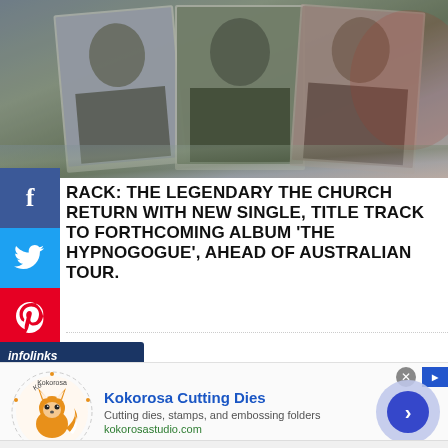[Figure (photo): Band members photo collage with overlapping polaroid-style images on a muted gray-green background]
RACK: THE LEGENDARY THE CHURCH RETURN WITH NEW SINGLE, TITLE TRACK TO FORTHCOMING ALBUM 'THE HYPNOGOGUE', AHEAD OF AUSTRALIAN TOUR.
[Figure (infographic): Infolinks advertisement bar with Kokorosa Cutting Dies ad showing fox logo, brand name, description 'Cutting dies, stamps, and embossing folders', URL kokorosastudio.com, and navigation arrow button]